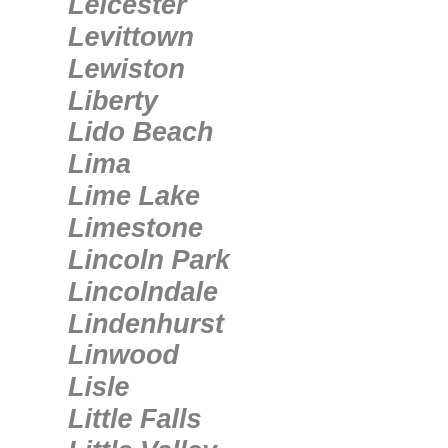Leicester
Levittown
Lewiston
Liberty
Lido Beach
Lima
Lime Lake
Limestone
Lincoln Park
Lincolndale
Lindenhurst
Linwood
Lisle
Little Falls
Little Valley
Liverpool
Livingston Manor
Livonia
Livonia Center